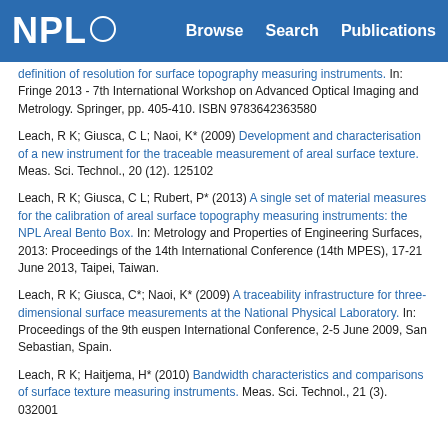NPL   Browse   Search   Publications
definition of resolution for surface topography measuring instruments. In: Fringe 2013 - 7th International Workshop on Advanced Optical Imaging and Metrology. Springer, pp. 405-410. ISBN 9783642363580
Leach, R K; Giusca, C L; Naoi, K* (2009) Development and characterisation of a new instrument for the traceable measurement of areal surface texture. Meas. Sci. Technol., 20 (12). 125102
Leach, R K; Giusca, C L; Rubert, P* (2013) A single set of material measures for the calibration of areal surface topography measuring instruments: the NPL Areal Bento Box. In: Metrology and Properties of Engineering Surfaces, 2013: Proceedings of the 14th International Conference (14th MPES), 17-21 June 2013, Taipei, Taiwan.
Leach, R K; Giusca, C*; Naoi, K* (2009) A traceability infrastructure for three-dimensional surface measurements at the National Physical Laboratory. In: Proceedings of the 9th euspen International Conference, 2-5 June 2009, San Sebastian, Spain.
Leach, R K; Haitjema, H* (2010) Bandwidth characteristics and comparisons of surface texture measuring instruments. Meas. Sci. Technol., 21 (3). 032001